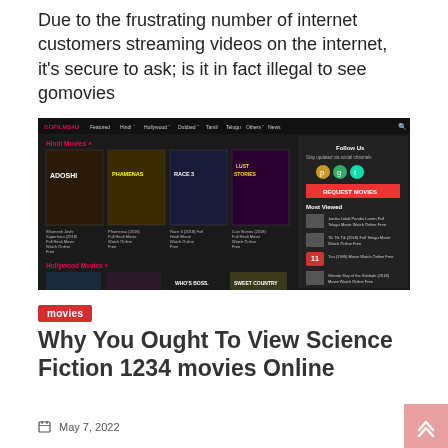Due to the frustrating number of internet customers streaming videos on the internet, it's secure to ask; is it in fact illegal to see gomovies
[Figure (screenshot): Screenshot of a movie streaming website called GOFILMS4U showing Hindi and Hollywood movies with navigation bar, movie posters, and a sidebar with Follow Us section, Request Movies button, and Most Viewed list.]
movies
Why You Ought To View Science Fiction 1234 movies Online
May 7, 2022